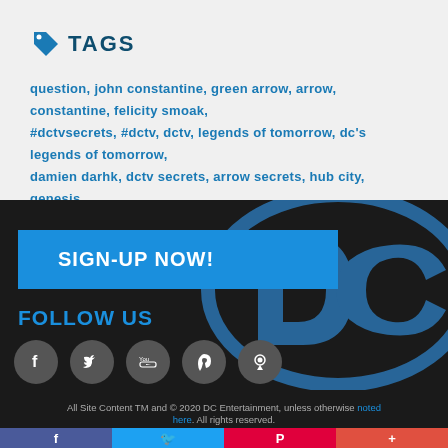TAGS
question, john constantine, green arrow, arrow, constantine, felicity smoak, #dctvsecrets, #dctv, dctv, legends of tomorrow, dc's legends of tomorrow, damien darhk, dctv secrets, arrow secrets, hub city, genesis
[Figure (logo): SIGN-UP NOW! button in blue]
FOLLOW US
[Figure (illustration): Social media icons: Facebook, Twitter, YouTube, Pinterest, Periscope on dark background with DC logo watermark]
All Site Content TM and © 2020 DC Entertainment, unless otherwise noted here. All rights reserved.